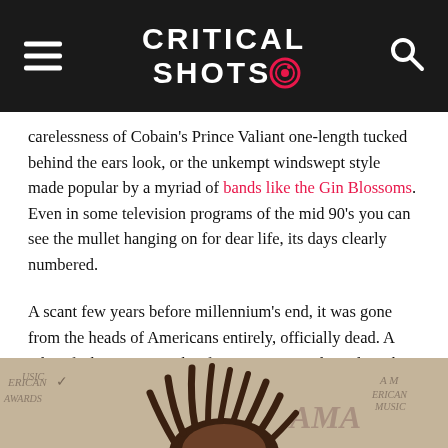CRITICAL SHOTS
carelessness of Cobain's Prince Valiant one-length tucked behind the ears look, or the unkempt windswept style made popular by a myriad of bands like the Gin Blossoms. Even in some television programs of the mid 90's you can see the mullet hanging on for dear life, its days clearly numbered.
A scant few years before millennium's end, it was gone from the heads of Americans entirely, officially dead. A relic of a bygone time that few were too cool to admit they once sported. We've since seen boy bands and rappers get all sorts of clever with their hair, but ultimately they wore fads that proved to enjoy lesser duration than that of the now infamous style that inspires even these words.
[Figure (photo): Partial image of a person at the American Music Awards, showing the top of their head with distinctive dreadlock-style hair, with 'American Music Awards' text visible in background]